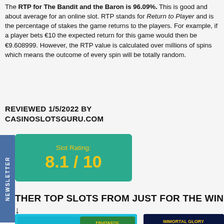The RTP for The Bandit and the Baron is 96.09%. This is good and about average for an online slot. RTP stands for Return to Player and is the percentage of stakes the game returns to the players. For example, if a player bets €10 the expected return for this game would then be €9.608999. However, the RTP value is calculated over millions of spins which means the outcome of every spin will be totally random.
REVIEWED 1/5/2022 BY CASINOSLOTSGURU.COM
[Figure (infographic): Teal/green rounded rectangle box showing Slot Rating: 8.1 / 10 in yellow text]
OTHER TOP SLOTS FROM JUST FOR THE WIN ↓
[Figure (screenshot): Screenshot of Fruitastic Gold slot game with 25000x multiplier display]
[Figure (screenshot): Screenshot of Immortal Glory slot game with characters]